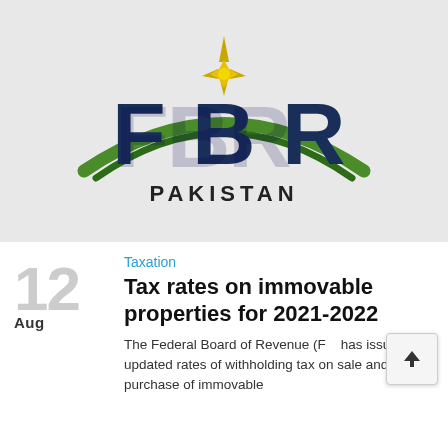[Figure (logo): FBR Pakistan logo on a light grey background. Large blue 3D letters FBR with a green arc above and a gold star/compass point at the top. Below reads PAKISTAN in dark grey.]
Taxation
Aug 12
Tax rates on immovable properties for 2021-2022
The Federal Board of Revenue (F... has issued updated rates of withholding tax on sale and purchase of immovable